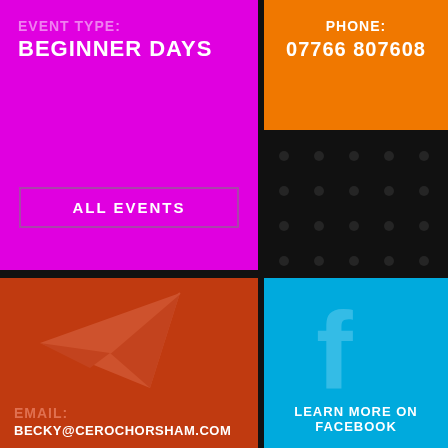EVENT TYPE:
BEGINNER DAYS
ALL EVENTS
PHONE:
07766 807608
[Figure (illustration): Dark background with subtle circular dot pattern]
[Figure (illustration): Paper airplane send icon on dark orange background]
EMAIL:
BECKY@CEROCHORSHAM.COM
[Figure (illustration): Facebook 'f' logo on cyan blue background]
LEARN MORE ON FACEBOOK